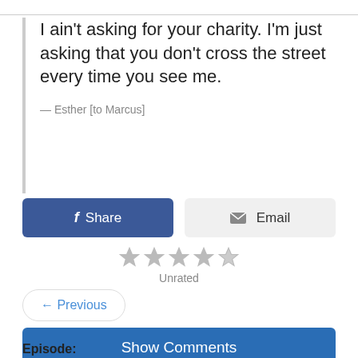I ain't asking for your charity. I'm just asking that you don't cross the street every time you see me.
— Esther [to Marcus]
[Figure (screenshot): Facebook Share button (blue) and Email button (grey) side by side]
[Figure (other): Five grey star rating icons labeled Unrated]
← Previous
Show Comments
Episode: